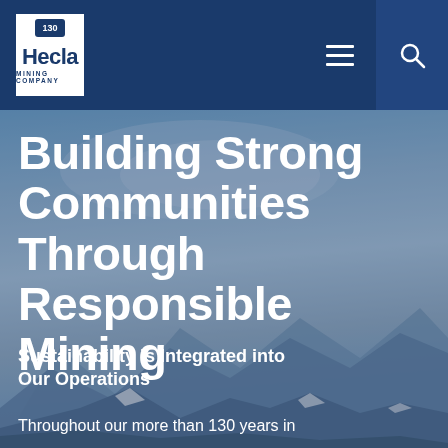[Figure (logo): Hecla Mining Company logo with '130' anniversary badge on white square background, set in navy blue navigation bar with hamburger menu icon and search icon]
[Figure (photo): Mountain landscape with blue sky and snow-capped mountain ridgeline, serving as hero background image for Hecla Mining Company website]
Building Strong Communities Through Responsible Mining
Sustainability is Integrated into Our Operations
Throughout our more than 130 years in